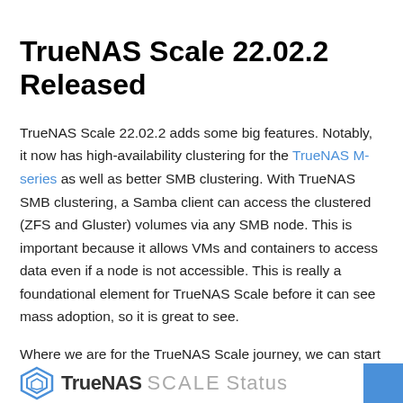TrueNAS Scale 22.02.2 Released
TrueNAS Scale 22.02.2 adds some big features. Notably, it now has high-availability clustering for the TrueNAS M-series as well as better SMB clustering. With TrueNAS SMB clustering, a Samba client can access the clustered (ZFS and Gluster) volumes via any SMB node. This is important because it allows VMs and containers to access data even if a node is not accessible. This is really a foundational element for TrueNAS Scale before it can see mass adoption, so it is great to see.
Where we are for the TrueNAS Scale journey, we can start by looking at the original release lifecycle timeline from February 2022:
[Figure (logo): TrueNAS SCALE Status logo banner at the bottom of the page with a blue square on the right]